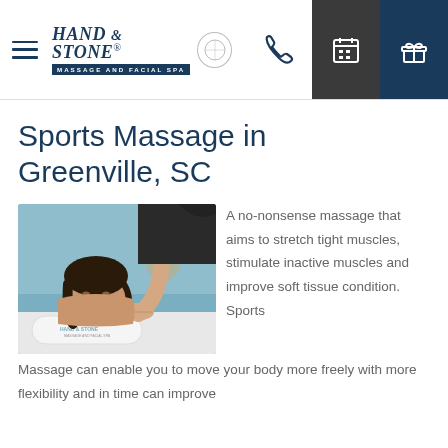Hand & Stone Massage and Facial Spa — navigation header with logo, phone, calendar and gift icons
Sports Massage in Greenville, SC
[Figure (photo): A woman receiving a back/shoulder massage, lying face-down on a massage table with a Hand & Stone branded pillow, therapist's hands visible working on her back.]
A no-nonsense massage that aims to stretch tight muscles, stimulate inactive muscles and improve soft tissue condition. Sports Massage can enable you to move your body more freely with more flexibility and in time can improve